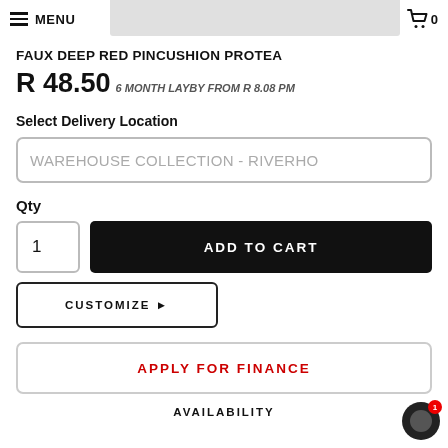MENU    0
FAUX DEEP RED PINCUSHION PROTEA
R 48.50 6 MONTH LAYBY FROM R 8.08 PM
Select Delivery Location
WAREHOUSE COLLECTION - RIVERHO
Qty
1
ADD TO CART
CUSTOMIZE ▶
APPLY FOR FINANCE
AVAILABILITY